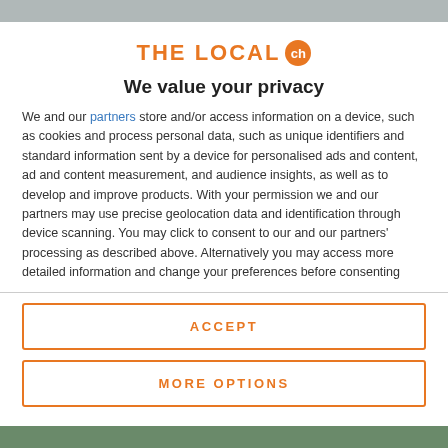[Figure (logo): THE LOCAL ch logo with orange text and orange circle badge with 'ch']
We value your privacy
We and our partners store and/or access information on a device, such as cookies and process personal data, such as unique identifiers and standard information sent by a device for personalised ads and content, ad and content measurement, and audience insights, as well as to develop and improve products. With your permission we and our partners may use precise geolocation data and identification through device scanning. You may click to consent to our and our partners' processing as described above. Alternatively you may access more detailed information and change your preferences before consenting
ACCEPT
MORE OPTIONS